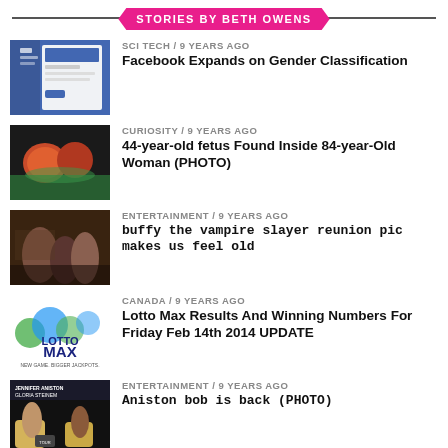STORIES BY BETH OWENS
SCI TECH / 9 years ago — Facebook Expands on Gender Classification
CURIOSITY / 9 years ago — 44-year-old fetus Found Inside 84-year-Old Woman (PHOTO)
ENTERTAINMENT / 9 years ago — buffy the vampire slayer reunion pic makes us feel old
CANADA / 9 years ago — Lotto Max Results And Winning Numbers For Friday Feb 14th 2014 UPDATE
ENTERTAINMENT / 9 years ago — Aniston bob is back (PHOTO)
CURIOSITY / 9 years ago